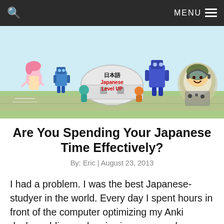🔍  MENU ≡
[Figure (illustration): Japanese Level UP website banner illustration with anime-style cartoon characters including a pilot, robots, and a building with Japanese text 日本語 and 'Japanese Level UP' in red text.]
Are You Spending Your Japanese Time Effectively?
By: Eric | August 23, 2013
I had a problem. I was the best Japanese-studyer in the world. Every day I spent hours in front of the computer optimizing my Anki decks, adding and reviewing new words, scouring the archives of Japanese-learning blogs and gleaning the latest studying insights from Japanese-learning